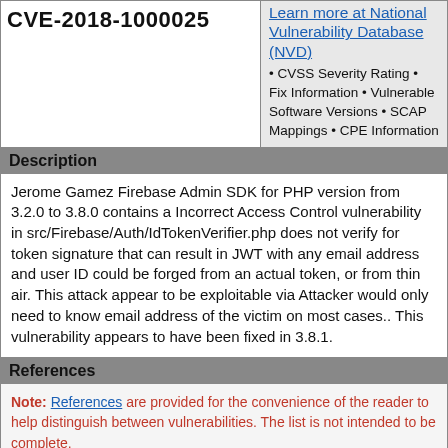CVE-2018-1000025
Learn more at National Vulnerability Database (NVD)
• CVSS Severity Rating • Fix Information • Vulnerable Software Versions • SCAP Mappings • CPE Information
Description
Jerome Gamez Firebase Admin SDK for PHP version from 3.2.0 to 3.8.0 contains a Incorrect Access Control vulnerability in src/Firebase/Auth/IdTokenVerifier.php does not verify for token signature that can result in JWT with any email address and user ID could be forged from an actual token, or from thin air. This attack appear to be exploitable via Attacker would only need to know email address of the victim on most cases.. This vulnerability appears to have been fixed in 3.8.1.
References
Note: References are provided for the convenience of the reader to help distinguish between vulnerabilities. The list is not intended to be complete.
CONFIRM:https://github.com/kreait/firebase-php/pull/151
CONFIRM:https://github.com/kreait/firebase-